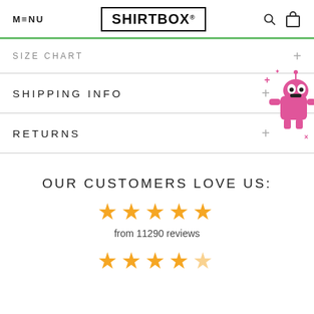MENU | SHIRTBOX® | [search] [bag]
SIZE CHART
SHIPPING INFO
RETURNS
[Figure (illustration): Pink cartoon robot mascot with pink splatter marks and small x and + symbols]
OUR CUSTOMERS LOVE US:
★★★★★
from 11290 reviews